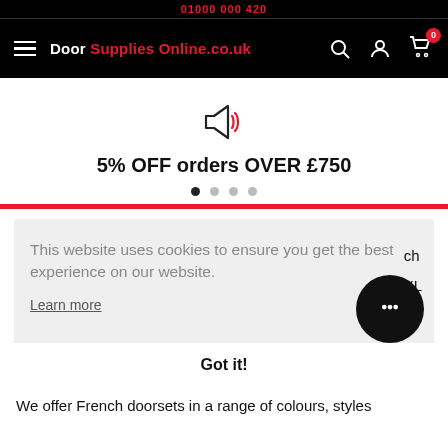01000 000 420
Door Supplies Online.co.uk
5% OFF orders OVER £750
This website uses cookies to ensure you get the best experience on our website. Learn more
Got it!
We offer French doorsets in a range of colours, styles